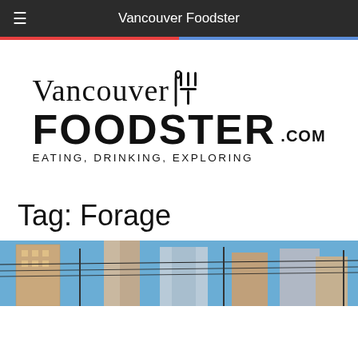Vancouver Foodster
[Figure (logo): Vancouver Foodster logo with fork and knife icon, text 'Vancouver FOODSTER.COM' and tagline 'EATING, DRINKING, EXPLORING']
Tag: Forage
[Figure (photo): Street-level photo showing urban buildings and power lines against a blue sky]